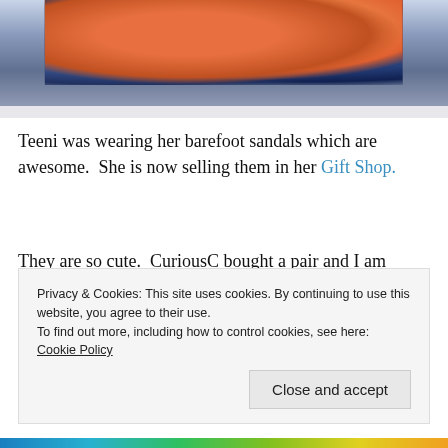[Figure (photo): Photo of potted flowers including orange blooms in a pink/red pot and blue-purple plants, viewed through or near a window frame, against a blue-toned background.]
Teeni was wearing her barefoot sandals which are awesome.  She is now selling them in her Gift Shop.
They are so cute.  CuriousC bought a pair and I am buying a pair for someone as a gift.  So I spent the afternoon with two talented and wonderful women.  We ate, talked, laughed, talked, ate, laughed and generally had the best
Privacy & Cookies: This site uses cookies. By continuing to use this website, you agree to their use.
To find out more, including how to control cookies, see here: Cookie Policy
Close and accept